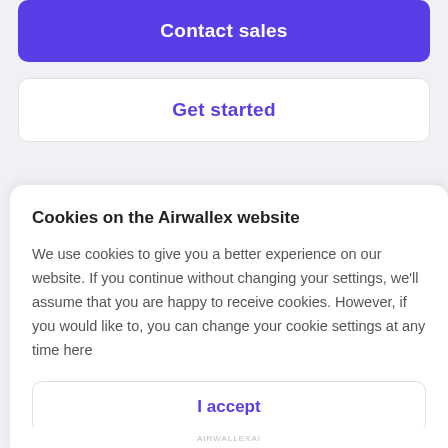Contact sales
Get started
Cookies on the Airwallex website
We use cookies to give you a better experience on our website. If you continue without changing your settings, we'll assume that you are happy to receive cookies. However, if you would like to, you can change your cookie settings at any time here
I accept
Find out more
AIRWALLEXAI